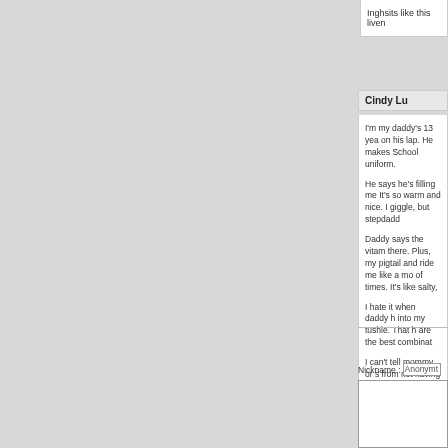Inghsits like this liven
Cindy Lu
I'm my daddy's 13 yea on his lap. He makes School uniform.

He says he's filling me It's so warm and nice. I giggle, but stepdadd

Daddy says the vitam there. Plus, my pigtail and ride me like a mo of times. It's like salty,

I hate it when daddy h into my tushie. That h are the best combinat

I can't tell mommy or s from not having my vi
Nickname : Anonymous